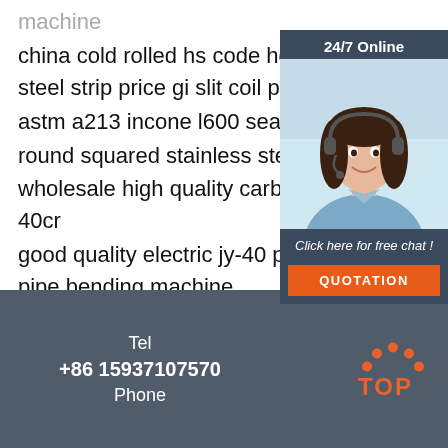machine
china cold rolled hs code hot dip galvanized steel strip price gi slit coil price
astm a213 incone l600 seamless tube
round squared stainless steel pipe
wholesale high quality carbon steel 40cr
good quality electric jy-40 profile section pipe bending machine
[Figure (photo): Customer support representative with headset, 24/7 Online chat widget with QUOTATION button]
Tel
+86 15937107570
Phone